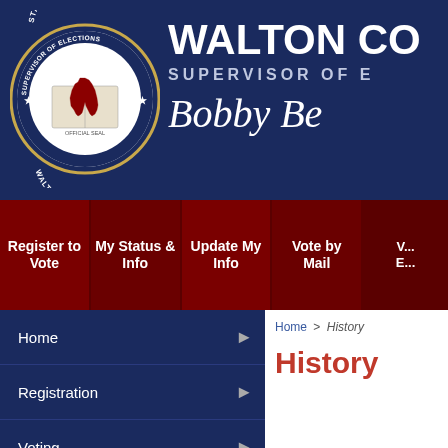[Figure (logo): State of Florida Walton County Supervisor of Elections official seal - circular seal with state of Florida outline in red]
WALTON CO
SUPERVISOR OF E
Bobby Be
Register to Vote
My Status & Info
Update My Info
Vote by Mail
V... E...
Home
Registration
Voting
Elections
Campaigns / Finances
Community / Notices
Home > History
History